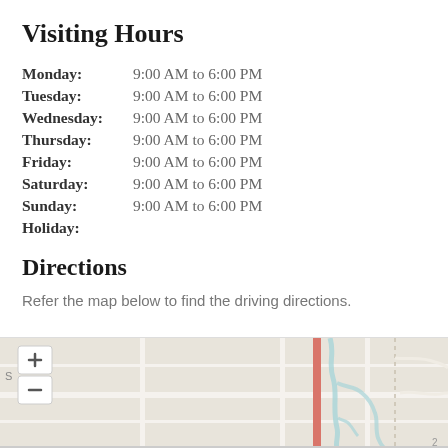Visiting Hours
| Day | Hours |
| --- | --- |
| Monday: | 9:00 AM to 6:00 PM |
| Tuesday: | 9:00 AM to 6:00 PM |
| Wednesday: | 9:00 AM to 6:00 PM |
| Thursday: | 9:00 AM to 6:00 PM |
| Friday: | 9:00 AM to 6:00 PM |
| Saturday: | 9:00 AM to 6:00 PM |
| Sunday: | 9:00 AM to 6:00 PM |
| Holiday: |  |
Directions
Refer the map below to find the driving directions.
[Figure (map): A street map showing driving directions to the location, with zoom in (+) and zoom out (-) controls visible in the upper left. The map shows roads, a highlighted route in salmon/red color, and light blue waterways.]